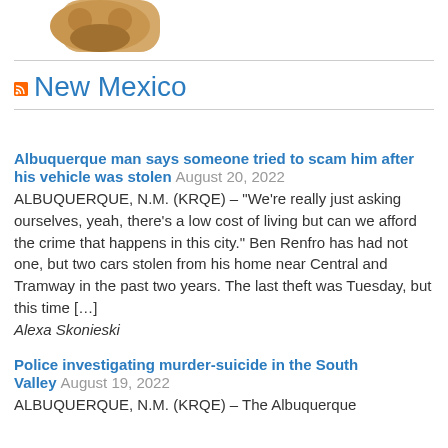[Figure (photo): Partial image of a mascot or animal figure at top left corner]
New Mexico
Albuquerque man says someone tried to scam him after his vehicle was stolen August 20, 2022
ALBUQUERQUE, N.M. (KRQE) – "We're really just asking ourselves, yeah, there's a low cost of living but can we afford the crime that happens in this city." Ben Renfro has had not one, but two cars stolen from his home near Central and Tramway in the past two years. The last theft was Tuesday, but this time […]
Alexa Skonieski
Police investigating murder-suicide in the South Valley August 19, 2022
ALBUQUERQUE, N.M. (KRQE) – The Albuquerque